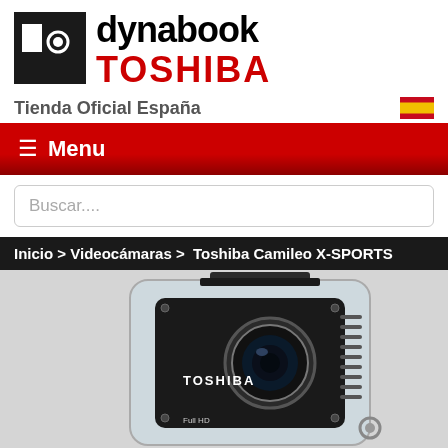[Figure (logo): Dynabook Toshiba logo with black square icon and text 'dynabook' in black and 'TOSHIBA' in red]
Tienda Oficial España
[Figure (illustration): Spanish flag icon]
≡ Menu
Buscar....
Inicio > Videocámaras > Toshiba Camileo X-SPORTS
[Figure (photo): Toshiba Camileo X-SPORTS action camera in waterproof transparent housing, showing lens and Toshiba branding on black body]